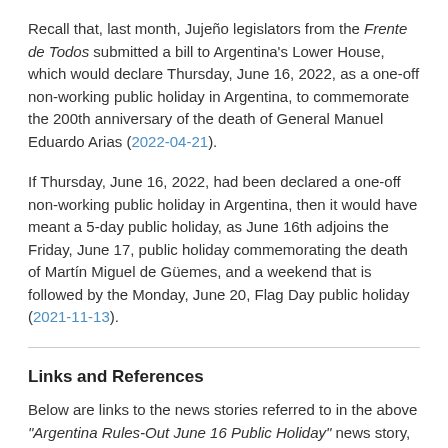Recall that, last month, Jujeño legislators from the Frente de Todos submitted a bill to Argentina's Lower House, which would declare Thursday, June 16, 2022, as a one-off non-working public holiday in Argentina, to commemorate the 200th anniversary of the death of General Manuel Eduardo Arias (2022-04-21).
If Thursday, June 16, 2022, had been declared a one-off non-working public holiday in Argentina, then it would have meant a 5-day public holiday, as June 16th adjoins the Friday, June 17, public holiday commemorating the death of Martín Miguel de Güemes, and a weekend that is followed by the Monday, June 20, Flag Day public holiday (2021-11-13).
Links and References
Below are links to the news stories referred to in the above "Argentina Rules-Out June 16 Public Holiday" news story, as well as links to subsequents news stories which refer to the present news story.